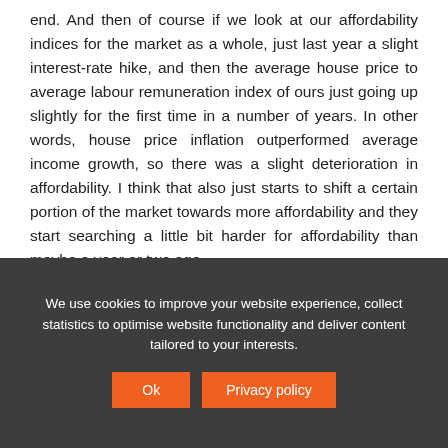end. And then of course if we look at our affordability indices for the market as a whole, just last year a slight interest-rate hike, and then the average house price to average labour remuneration index of ours just going up slightly for the first time in a number of years. In other words, house price inflation outperformed average income growth, so there was a slight deterioration in affordability. I think that also just starts to shift a certain portion of the market towards more affordability and they start searching a little bit harder for affordability than maybe a year or two ago.
We use cookies to improve your website experience, collect statistics to optimise website functionality and deliver content tailored to your interests.